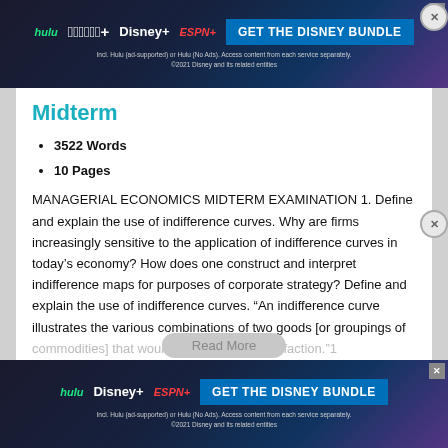[Figure (screenshot): Disney Bundle advertisement banner at top of page showing Hulu, Disney+, ESPN+ logos with blue gradient background and GET THE DISNEY BUNDLE button]
Midterm
3522 Words
10 Pages
MANAGERIAL ECONOMICS MIDTERM EXAMINATION 1. Define and explain the use of indifference curves. Why are firms increasingly sensitive to the application of indifference curves in today's economy? How does one construct and interpret indifference maps for purposes of corporate strategy? Define and explain the use of indifference curves. "An indifference curve illustrates the various combinations of two goods [or groupings of commodities] that would provide equal satisfaction."1 There
[Figure (screenshot): Disney Bundle advertisement banner at bottom of page showing Hulu, Disney+, ESPN+ logos with blue gradient background and GET THE DISNEY BUNDLE button]